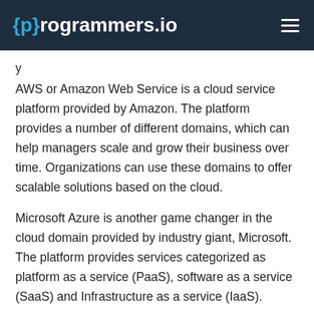{p}rogrammers.io
AWS or Amazon Web Service is a cloud service platform provided by Amazon. The platform provides a number of different domains, which can help managers scale and grow their business over time. Organizations can use these domains to offer scalable solutions based on the cloud.
Microsoft Azure is another game changer in the cloud domain provided by industry giant, Microsoft. The platform provides services categorized as platform as a service (PaaS), software as a service (SaaS) and Infrastructure as a service (IaaS).